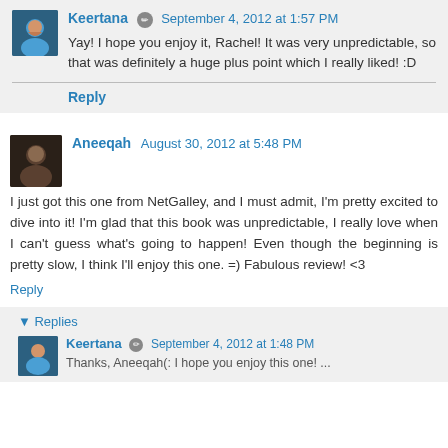Keertana · September 4, 2012 at 1:57 PM
Yay! I hope you enjoy it, Rachel! It was very unpredictable, so that was definitely a huge plus point which I really liked! :D
Reply
Aneeqah · August 30, 2012 at 5:48 PM
I just got this one from NetGalley, and I must admit, I'm pretty excited to dive into it! I'm glad that this book was unpredictable, I really love when I can't guess what's going to happen! Even though the beginning is pretty slow, I think I'll enjoy this one. =) Fabulous review! <3
Reply
▼ Replies
Keertana · September 4, 2012 at 1:48 PM
Thanks, Aneeqah(: I hope you enjoy this one! ...